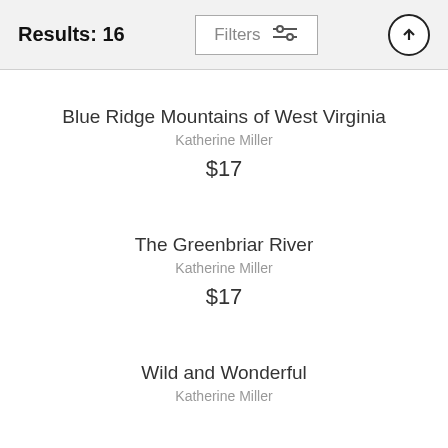Results: 16
Blue Ridge Mountains of West Virginia
Katherine Miller
$17
The Greenbriar River
Katherine Miller
$17
Wild and Wonderful
Katherine Miller